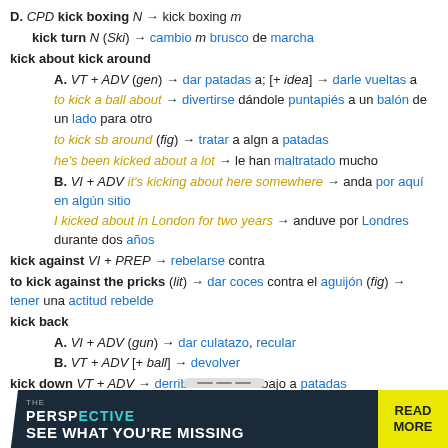D. CPD kick boxing N → kick boxing m
kick turn N (Ski) → cambio m brusco de marcha
kick about kick around
A. VT + ADV (gen) → dar patadas a; [+ idea] → darle vueltas a
to kick a ball about → divertirse dándole puntapiés a un balón de un lado para otro
to kick sb around (fig) → tratar a algn a patadas
he's been kicked about a lot → le han maltratado mucho
B. VI + ADV it's kicking about here somewhere → anda por aquí en algún sitio
I kicked about in London for two years → anduve por Londres durante dos años
kick against VI + PREP → rebelarse contra
to kick against the pricks (lit) → dar coces contra el aguijón (fig) → tener una actitud rebelde
kick back
A. VI + ADV (gun) → dar culatazo, recular
B. VT + ADV [+ ball] → devolver
kick down VT + ADV → derribar or echar abajo a patadas
kick in
[Figure (screenshot): Advertisement banner for 'The Perspective' reading app with dark background, teal branding, and yellow 'READ MORE' button. Text reads: 'SEE WHAT YOU'RE MISSING']